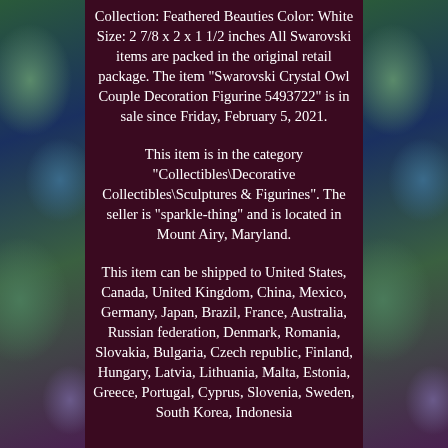[Figure (illustration): Decorative abstract swirling background panels on left and right sides of the page, featuring blue, green, and purple tones.]
Collection: Feathered Beauties Color: White Size: 2 7/8 x 2 x 1 1/2 inches All Swarovski items are packed in the original retail package. The item "Swarovski Crystal Owl Couple Decoration Figurine 5493722" is in sale since Friday, February 5, 2021.
This item is in the category "Collectibles\Decorative Collectibles\Sculptures & Figurines". The seller is "sparkle-thing" and is located in Mount Airy, Maryland.
This item can be shipped to United States, Canada, United Kingdom, China, Mexico, Germany, Japan, Brazil, France, Australia, Russian federation, Denmark, Romania, Slovakia, Bulgaria, Czech republic, Finland, Hungary, Latvia, Lithuania, Malta, Estonia, Greece, Portugal, Cyprus, Slovenia, Sweden, South Korea, Indonesia